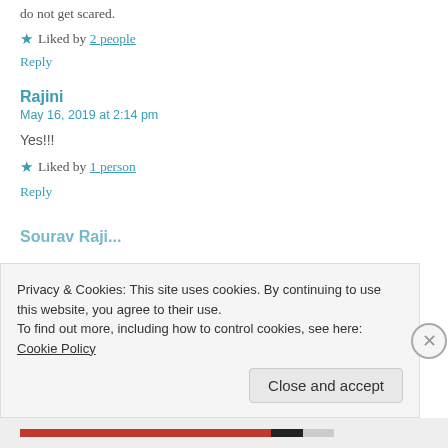do not get scared.
★ Liked by 2 people
Reply
Rajini
May 16, 2019 at 2:14 pm
Yes!!!
★ Liked by 1 person
Reply
Privacy & Cookies: This site uses cookies. By continuing to use this website, you agree to their use. To find out more, including how to control cookies, see here: Cookie Policy
Close and accept